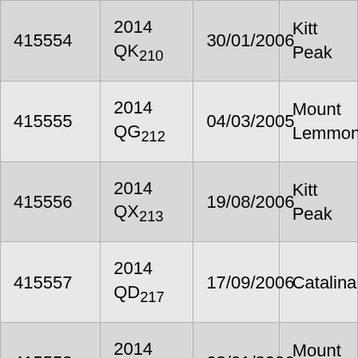| 415554 | 2014 QK210 | 30/01/2006 | Kitt Peak |
| 415555 | 2014 QG212 | 04/03/2005 | Mount Lemmon |
| 415556 | 2014 QX213 | 19/08/2006 | Kitt Peak |
| 415557 | 2014 QD217 | 17/09/2006 | Catalina |
| 415558 | 2014 QD221 | 08/01/2006 | Mount Lemmon |
| 415559 | 2014 QZ223 | 21/08/2006 | Kitt Peak |
| 415560 | 2014 ... | 27/12/2006 | Mount |